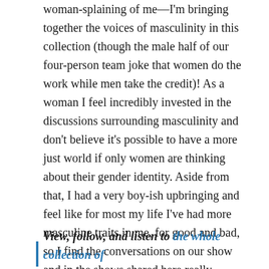woman-splaining of me—I'm bringing together the voices of masculinity in this collection (though the male half of our four-person team joke that women do the work while men take the credit)! As a woman I feel incredibly invested in the discussions surrounding masculinity and don't believe it's possible to have a more just world if only women are thinking about their gender identity. Aside from that, I had a very boy-ish upbringing and feel like for most my life I've had more masculine traits in me, for good and bad, so I find the conversations on our show and in the shows shared here really personal, occasionally infuriating, yet always exciting too!
View, follow, and listen to the whole collection of